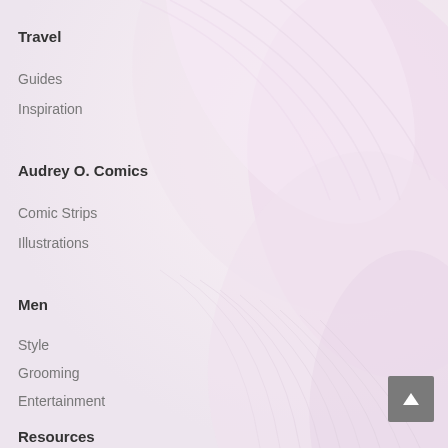Travel
Guides
Inspiration
Audrey O. Comics
Comic Strips
Illustrations
Men
Style
Grooming
Entertainment
Resources
Ask Shilpa
[Figure (illustration): Soft pink and white feather or flower petal macro photography forming the background of the navigation page]